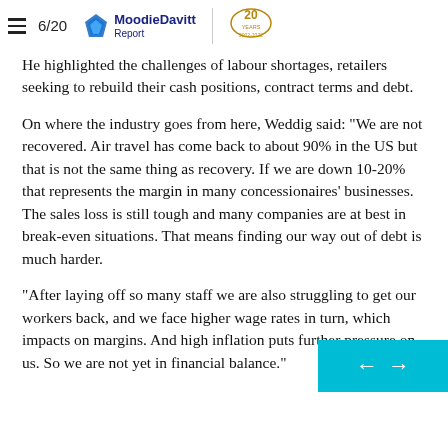6/20 Moodie Davitt Report 2002-2022
He highlighted the challenges of labour shortages, retailers seeking to rebuild their cash positions, contract terms and debt.
On where the industry goes from here, Weddig said: “We are not recovered. Air travel has come back to about 90% in the US but that is not the same thing as recovery. If we are down 10-20% that represents the margin in many concessionaires’ businesses. The sales loss is still tough and many companies are at best in break-even situations. That means finding our way out of debt is much harder.
“After laying off so many staff we are also struggling to get our workers back, and we face higher wage rates in turn, which impacts on margins. And high inflation puts further pressure on us. So we are not yet in financial balance.”